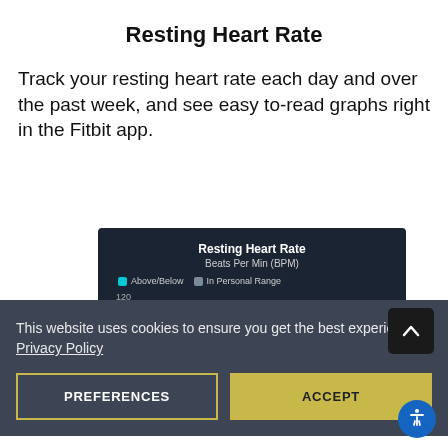Resting Heart Rate
Track your resting heart rate each day and over the past week, and see easy to-read graphs right in the Fitbit app.
[Figure (screenshot): A dark-themed app screenshot showing a 'Resting Heart Rate' chart with subtitle 'Beats Per Min (BPM)', a legend with cyan 'Above/Below' and grey 'In Personal Range' indicators, and a y-axis beginning at 120.]
This website uses cookies to ensure you get the best experience Privacy Policy
PREFERENCES
ACCEPT